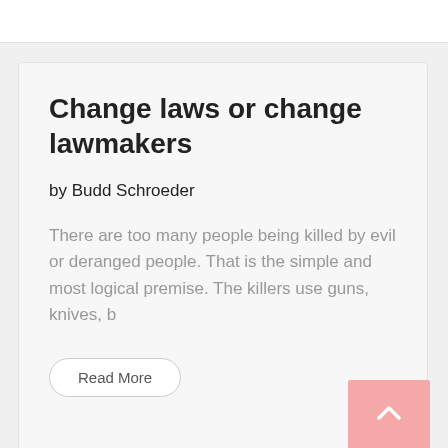Change laws or change lawmakers
by Budd Schroeder
There are too many people being killed by evil or deranged people. That is the simple and most logical premise. The killers use guns, knives, b
Read More